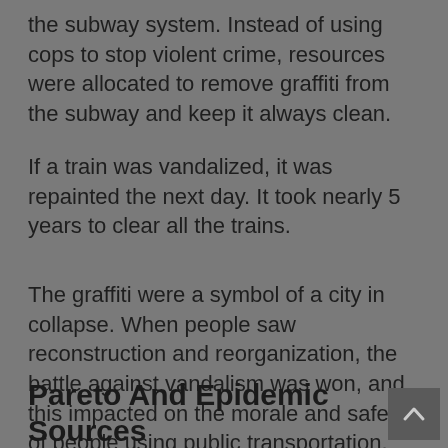the subway system. Instead of using cops to stop violent crime, resources were allocated to remove graffiti from the subway and keep it always clean.
If a train was vandalized, it was repainted the next day. It took nearly 5 years to clear all the trains.
The graffiti were a symbol of a city in collapse. When people saw reconstruction and reorganization, the battle against vandalism was won, and this impacted on the morale and safety of people using public transportation.
Pareto And Epidemic Sources